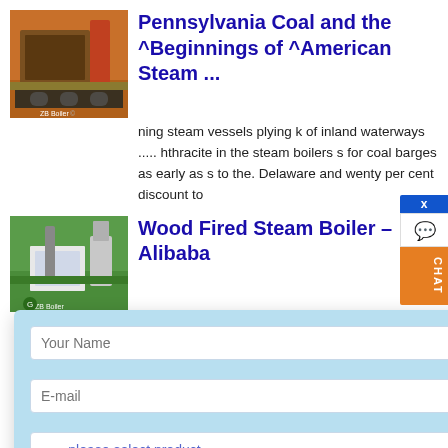[Figure (photo): Industrial boiler or coal handling equipment photo - orange/red machinery on tracks outdoors]
Pennsylvania Coal and the ^Beginnings of ^American Steam ...
...ning steam vessels plying k of inland waterways .... hthracite in the steam boilers s for coal barges as early as s to the. Delaware and wenty per cent discount to
[Figure (photo): Wood fired steam boiler industrial facility photo - green landscape with factory building and chimney]
Wood Fired Steam Boiler – Alibaba
... Wood Fired Steam Boiler · Chain grate Moving Grate Wood Chip Coal